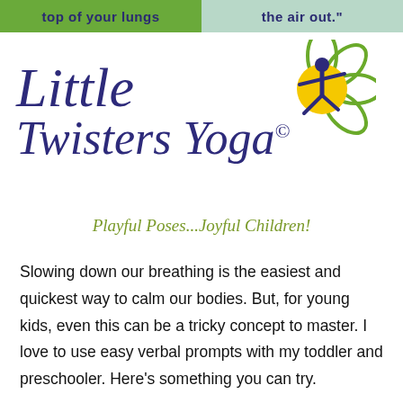top of your lungs   the air out.
[Figure (logo): Little Twisters Yoga logo with a child silhouette in a yoga pose on a yellow circle with green flower petals, and italic text reading 'Little Twisters Yoga©' with tagline 'Playful Poses...Joyful Children!']
Slowing down our breathing is the easiest and quickest way to calm our bodies. But, for young kids, even this can be a tricky concept to master. I love to use easy verbal prompts with my toddler and preschooler. Here's something you can try.